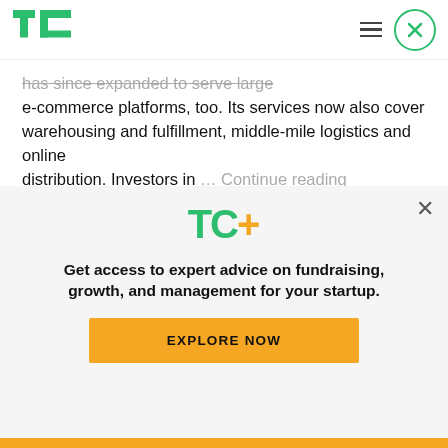[Figure (logo): TechCrunch green TC logo in top navigation bar]
has since expanded to serve large e-commerce platforms, too. Its services now also cover warehousing and fulfillment, middle-mile logistics and online distribution. Investors in ... Continue reading
[Figure (logo): TechCrunch small green TC logo square]
TechCrunch
0
Robertz told TechCrunch that Locad is able to keep
[Figure (infographic): TC+ subscription promotional overlay with TechCrunch TC+ logo in green and yellow, tagline and Explore Now button]
Get access to expert advice on fundraising, growth, and management for your startup.
EXPLORE NOW